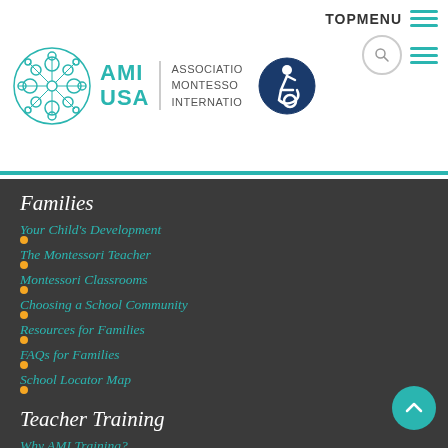[Figure (logo): AMI USA - Association Montessori International logo with teal snowflake/spiral motif and accessibility icon]
TOPMENU
Families
Your Child's Development
The Montessori Teacher
Montessori Classrooms
Choosing a School Community
Resources for Families
FAQs for Families
School Locator Map
Teacher Training
Why AMI Training?
Training FAQs
AMI Training Center Locator
Financial Aid Opportunities